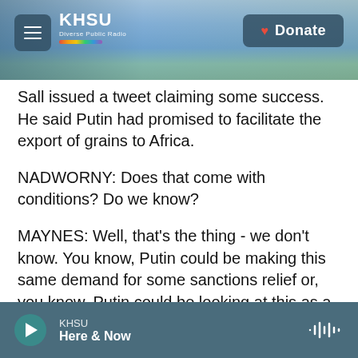[Figure (screenshot): KHSU radio station website header with coastal landscape background photo, navigation menu icon, KHSU logo with rainbow stripe, and Donate button]
Sall issued a tweet claiming some success. He said Putin had promised to facilitate the export of grains to Africa.
NADWORNY: Does that come with conditions? Do we know?
MAYNES: Well, that's the thing - we don't know. You know, Putin could be making this same demand for some sanctions relief or, you know, Putin could be looking at this as a chance to build some goodwill internationally, particularly at a moment when certainly, in the West, there's not a lot of it for the
KHSU Here & Now